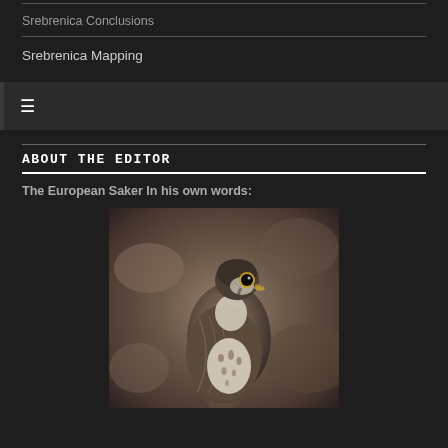Srebrenica Conclusions
Srebrenica Mapping
ABOUT THE EDITOR
The European Saker In his own words:
[Figure (photo): A Saker Falcon perched, facing right, with detailed brown and white plumage, yellow eye ring and beak, photographed against a blurred rocky background.]